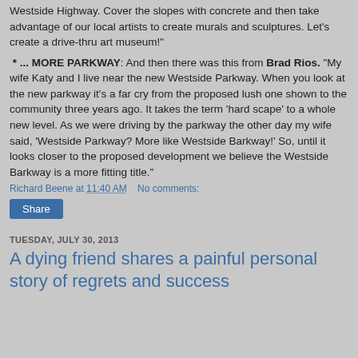Westside Highway. Cover the slopes with concrete and then take advantage of our local artists to create murals and sculptures. Let's create a drive-thru art museum!"
* ... MORE PARKWAY: And then there was this from Brad Rios. "My wife Katy and I live near the new Westside Parkway. When you look at the new parkway it's a far cry from the proposed lush one shown to the community three years ago. It takes the term 'hard scape' to a whole new level. As we were driving by the parkway the other day my wife said, 'Westside Parkway? More like Westside Barkway!' So, until it looks closer to the proposed development we believe the Westside Barkway is a more fitting title."
Richard Beene at 11:40 AM   No comments:
Share
TUESDAY, JULY 30, 2013
A dying friend shares a painful personal story of regrets and success